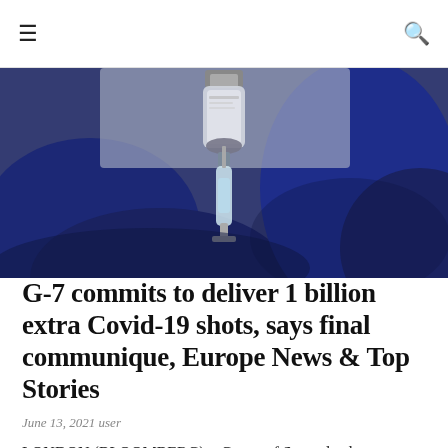≡  🔍
[Figure (photo): Close-up of gloved hands (dark blue surgical gloves) filling a syringe from a vaccine vial, light gray background.]
G-7 commits to deliver 1 billion extra Covid-19 shots, says final communique, Europe News & Top Stories
June 13, 2021 user
LONDON (BLOOMBERG) – Group of Seven leaders promised to deliver at least one billion extra doses of Covid-19 vaccines over the